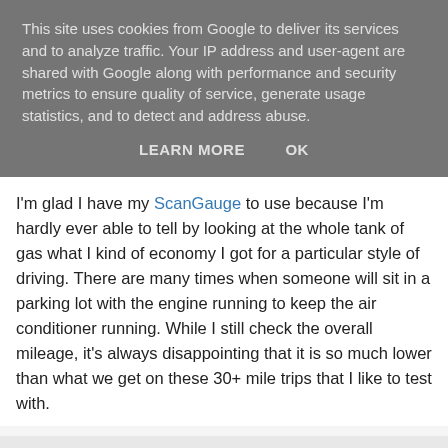This site uses cookies from Google to deliver its services and to analyze traffic. Your IP address and user-agent are shared with Google along with performance and security metrics to ensure quality of service, generate usage statistics, and to detect and address abuse.
LEARN MORE    OK
I'm glad I have my ScanGauge to use because I'm hardly ever able to tell by looking at the whole tank of gas what I kind of economy I got for a particular style of driving. There are many times when someone will sit in a parking lot with the engine running to keep the air conditioner running. While I still check the overall mileage, it's always disappointing that it is so much lower than what we get on these 30+ mile trips that I like to test with.
KD7LRJ at 8:02:00 AM
Share